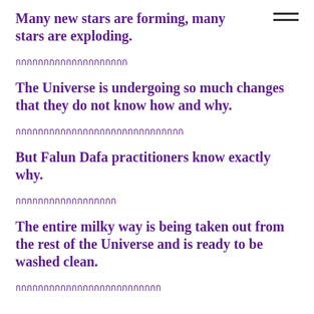Many new stars are forming, many stars are exploding.
กกกกกกกกกกกกกกกกกกกก
The Universe is undergoing so much changes that they do not know how and why.
กกกกกกกกกกกกกกกกกกกกกกกกกกกกกก
But Falun Dafa practitioners know exactly why.
กกกกกกกกกกกกกกกกกก
The entire milky way is being taken out from the rest of the Universe and is ready to be washed clean.
กกกกกกกกกกกกกกกกกกกกกกกกกก